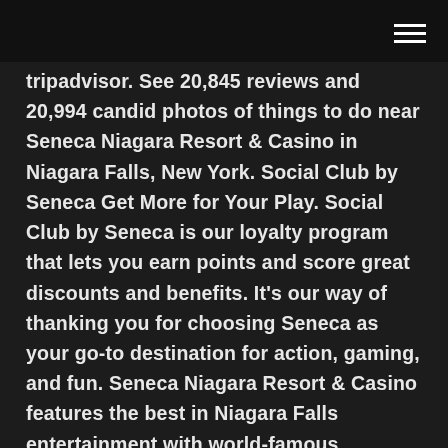[hamburger menu icon]
tripadvisor. See 20,845 reviews and 20,994 candid photos of things to do near Seneca Niagara Resort & Casino in Niagara Falls, New York. Social Club by Seneca Get More for Your Play. Social Club by Seneca is our loyalty program that lets you earn points and score great discounts and benefits. It's our way of thanking you for choosing Seneca as your go-to destination for action, gaming, and fun. Seneca Niagara Resort & Casino features the best in Niagara Falls entertainment with world-famous performers, jaw-dropping shows, must-see concerts, and the region's best live bands. Find the excitement you are looking for at any one of our live entertainment venues! Seneca Niagara Casino is the place to come to win big! Don't take it from us; take it from our jackpot winners. Feb 17, 2021 - Just steps from Niagara